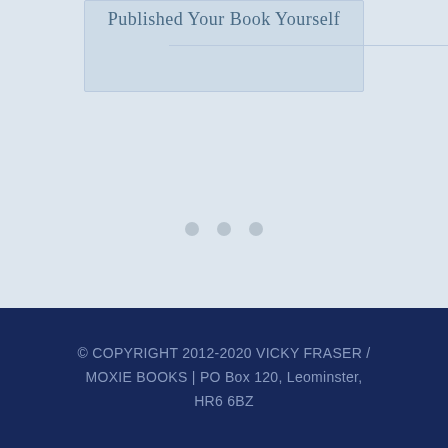Published Your Book Yourself
[Figure (other): Three decorative dots/circles used as a section divider]
© COPYRIGHT 2012-2020 VICKY FRASER / MOXIE BOOKS | PO Box 120, Leominster, HR6 6BZ